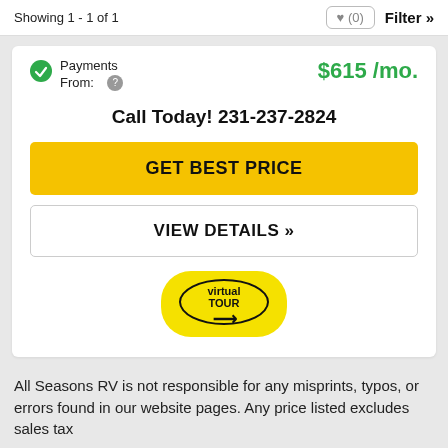Showing 1 - 1 of 1   ♥ (0)   Filter »
Payments From:   $615 /mo.
Call Today! 231-237-2824
GET BEST PRICE
VIEW DETAILS »
[Figure (other): Virtual Tour badge: yellow rounded rectangle with oval border containing text 'virtual TOUR' and an arrow]
All Seasons RV is not responsible for any misprints, typos, or errors found in our website pages. Any price listed excludes sales tax